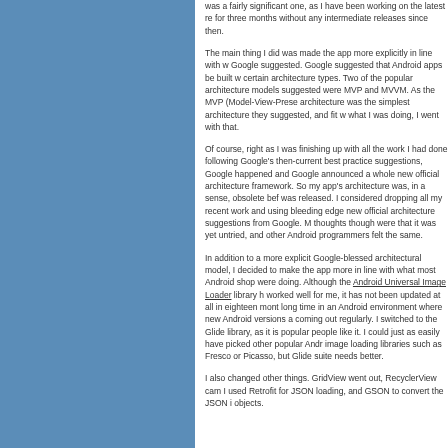was a fairly significant one, as I have been working on the latest re for three months without any intermediate releases since then.
The main thing I did was made the app more explicitly in line with w Google suggested. Google suggested that Android apps be built w certain architecture types. Two of the popular architecture models suggested were MVP and MVVM. As the MVP (Model-View-Prese architecture was the simplest architecture they suggested, and fit w what I was doing, I went with that.
Of course, right as I was finishing up with all the work I had done following Google's then-current best practice suggestions, Google happened and Google announced a whole new official architecture framework. So my app's architecture was, in a sense, obsolete bef was released. I considered dropping all my recent work and using bleeding edge new official architecture suggestions from Google. M thoughts though were that it was yet untried, and other Android programmers felt the same.
In addition to a more explicit Google-blessed architectural model, I decided to make the app more in line with what most Android shop were doing. Although the Android Universal Image Loader library h worked well for me, it has not been updated at all in eighteen mont long time in an Android environment where new Android versions a coming out regularly. I switched to the Glide library, as it is popular people like it. I could just as easily have picked other popular Andr image loading libraries such as Fresco or Picasso, but Glide suite needs better.
I also changed other things. GridView went out, RecyclerView cam I used Retrofit for JSON loading, and GSON to convert the JSON i objects.